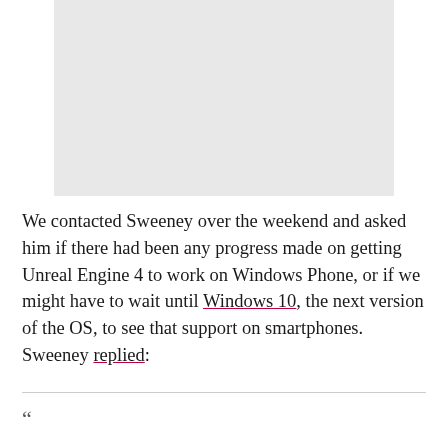[Figure (other): Light gray rectangular image placeholder at the top of the page]
We contacted Sweeney over the weekend and asked him if there had been any progress made on getting Unreal Engine 4 to work on Windows Phone, or if we might have to wait until Windows 10, the next version of the OS, to see that support on smartphones. Sweeney replied: